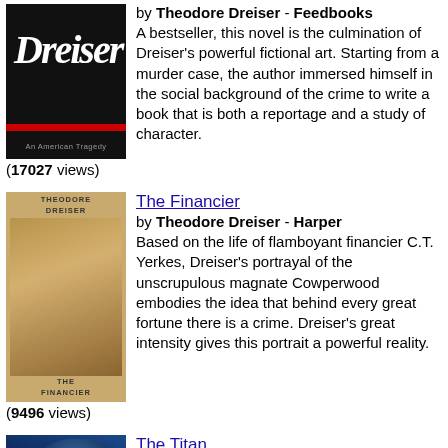[Figure (photo): Book cover of An American Tragedy by Theodore Dreiser, dark background with cursive Dreiser text and red band]
by Theodore Dreiser - Feedbooks
A bestseller, this novel is the culmination of Dreiser's powerful fictional art. Starting from a murder case, the author immersed himself in the social background of the crime to write a book that is both a reportage and a study of character.
(17027 views)
[Figure (photo): Book cover of The Financier by Theodore Dreiser, tan/golden cover with portrait of man]
The Financier
by Theodore Dreiser - Harper
Based on the life of flamboyant financier C.T. Yerkes, Dreiser's portrayal of the unscrupulous magnate Cowperwood embodies the idea that behind every great fortune there is a crime. Dreiser's great intensity gives this portrait a powerful reality.
(9496 views)
[Figure (photo): Book cover of The Titan by Theodore Dreiser, dark blue cover with face]
The Titan
by Theodore Dreiser - John Lane Co.
Dreiser presents the story of Frank Cowperwood, a turn of the century financier who desires to use